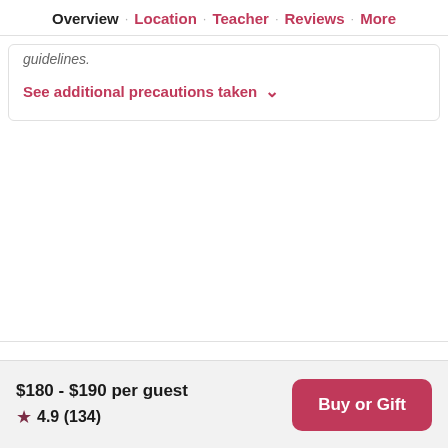Overview · Location · Teacher · Reviews · More
guidelines.
See additional precautions taken ∨
Location
$180 - $190 per guest
★ 4.9 (134)
Buy or Gift